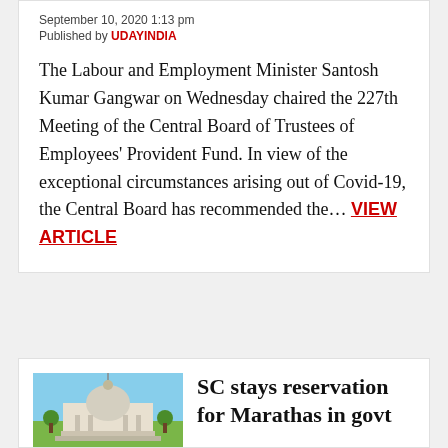September 10, 2020 1:13 pm
Published by UDAYINDIA
The Labour and Employment Minister Santosh Kumar Gangwar on Wednesday chaired the 227th Meeting of the Central Board of Trustees of Employees' Provident Fund. In view of the exceptional circumstances arising out of Covid-19, the Central Board has recommended the… VIEW ARTICLE
SC stays reservation for Marathas in govt